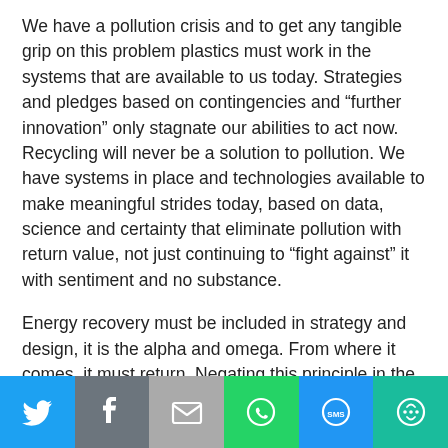We have a pollution crisis and to get any tangible grip on this problem plastics must work in the systems that are available to us today. Strategies and pledges based on contingencies and “further innovation” only stagnate our abilities to act now. Recycling will never be a solution to pollution. We have systems in place and technologies available to make meaningful strides today, based on data, science and certainty that eliminate pollution with return value, not just continuing to “fight against” it with sentiment and no substance.
Energy recovery must be included in strategy and design, it is the alpha and omega. From where it comes, it must return. Negating this principle in the management of plastics is blasphemous to the fundamental principles of “Circularity” and only serves to continue down a linear path that solves nothing.
[Figure (infographic): Social sharing bar with icons: Twitter (blue), Facebook (grey), Email (grey), WhatsApp (green), SMS (blue), More (teal/green)]